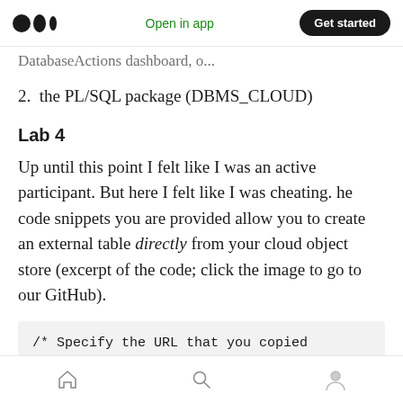Medium logo | Open in app | Get started
DatabaseActions dashboard, o...
2. the PL/SQL package (DBMS_CLOUD)
Lab 4
Up until this point I felt like I was an active participant. But here I felt like I was cheating. he code snippets you are provided allow you to create an external table directly from your cloud object store (excerpt of the code; click the image to go to our GitHub).
/* Specify the URL that you copied
Home | Search | Profile